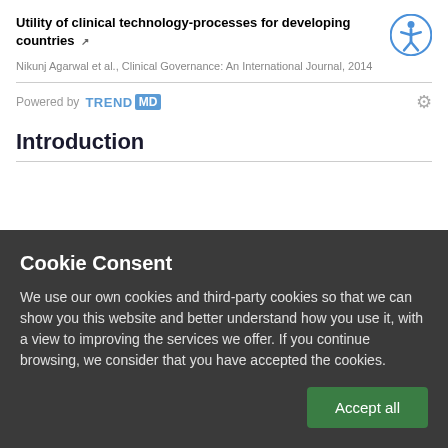Utility of clinical technology-processes for developing countries
Nikunj Agarwal et al., Clinical Governance: An International Journal, 2014
Powered by TRENDMD
Introduction
Cookie Consent
We use our own cookies and third-party cookies so that we can show you this website and better understand how you use it, with a view to improving the services we offer. If you continue browsing, we consider that you have accepted the cookies.
Accept all